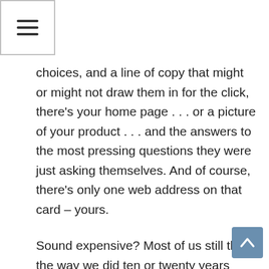[Figure (other): Hamburger menu icon in a bordered box in the top-left corner]
choices, and a line of copy that might or might not draw them in for the click, there's your home page . . . or a picture of your product . . . and the answers to the most pressing questions they were just asking themselves. And of course, there's only one web address on that card – yours.
Sound expensive? Most of us still think the way we did ten or twenty years ago, when color printing was really out of reach.
But a thousand postcards will only set you back a couple hundred bucks these days. Add mailing and postage, and you're still out less than the cost of a Mac Mini or a stripped-down Windows laptop – all